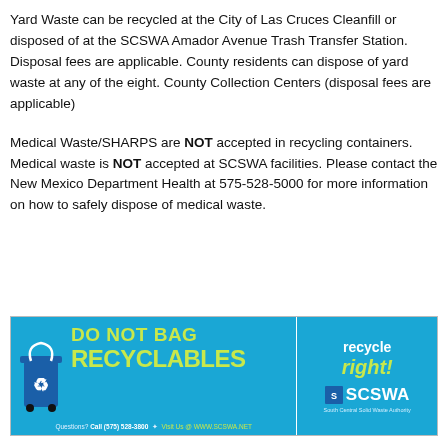Yard Waste can be recycled at the City of Las Cruces Cleanfill or disposed of at the SCSWA Amador Avenue Trash Transfer Station. Disposal fees are applicable. County residents can dispose of yard waste at any of the eight. County Collection Centers (disposal fees are applicable)
Medical Waste/SHARPS are NOT accepted in recycling containers. Medical waste is NOT accepted at SCSWA facilities. Please contact the New Mexico Department Health at 575-528-5000 for more information on how to safely dispose of medical waste.
[Figure (infographic): SCSWA 'Do Not Bag Recyclables' advertisement banner in teal/blue with green text. Shows a recycling bin graphic on the left, large green text reading 'DO NOT BAG RECYCLABLES', a vertical divider, and on the right 'recycle right!' in white/green with SCSWA logo. Footer reads 'Questions? Call (575) 528-3800 * Visit Us @ WWW.SCSWA.NET']